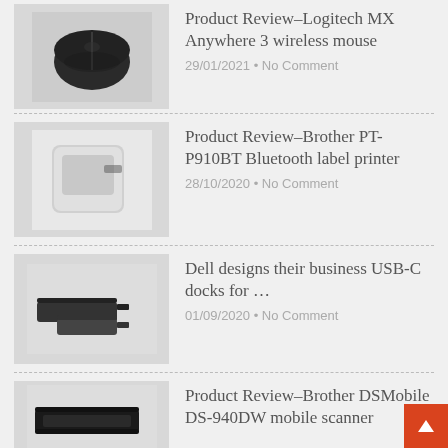[Figure (photo): Black wireless mouse (Logitech MX Anywhere 3)]
Product Review–Logitech MX Anywhere 3 wireless mouse
29/01/2021 • No Comment
[Figure (photo): White cube-shaped Bluetooth label printer (Brother PT-P910BT)]
Product Review–Brother PT-P910BT Bluetooth label printer
28/10/2020 • No Comment
[Figure (photo): Black USB-C docking stations (Dell)]
Dell designs their business USB-C docks for …
01/09/2020 • No Comment
[Figure (photo): Black slim portable scanner (Brother DSMobile DS-940DW)]
Product Review–Brother DSMobile DS-940DW mobile scanner
29/04/2020 • No Comment
[Figure (photo): Brother MFC-J5845DW inkjet multifunction printer in box]
Product Review–Brother MFC-J5845DW INKVestment multifunction inkjet printer